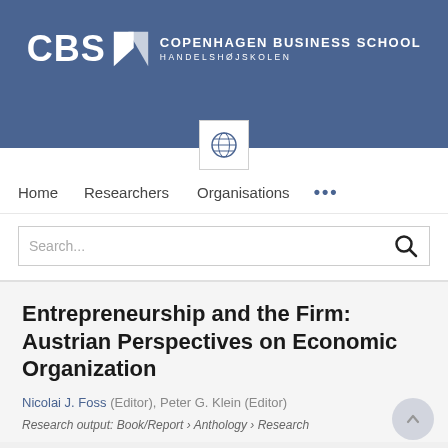[Figure (logo): Copenhagen Business School (CBS) logo with globe icon on blue banner background]
Home   Researchers   Organisations   ...
Search...
Entrepreneurship and the Firm: Austrian Perspectives on Economic Organization
Nicolai J. Foss (Editor), Peter G. Klein (Editor)
Research output: Book/Report › Anthology › Research